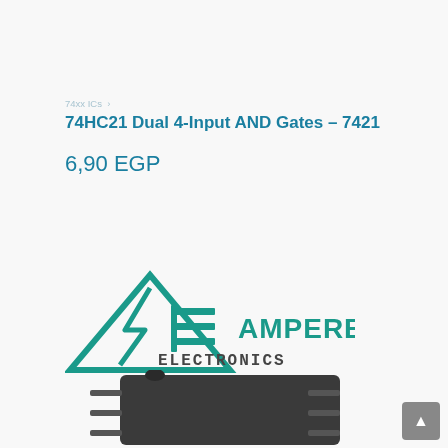74xx ICs
74HC21 Dual 4-Input AND Gates – 7421
6,90 EGP
[Figure (logo): Ampere Electronics logo with teal triangle/lightning bolt icon and stylized text 'AMPERE ELECTRONICS']
[Figure (photo): Dark grey DIP IC chip (74HC21) partially visible from above at an angle]